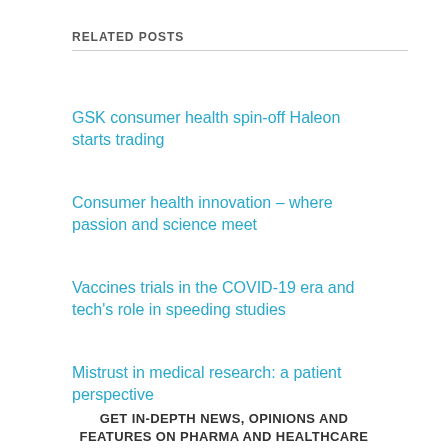RELATED POSTS
GSK consumer health spin-off Haleon starts trading
Consumer health innovation – where passion and science meet
Vaccines trials in the COVID-19 era and tech's role in speeding studies
Mistrust in medical research: a patient perspective
GET IN-DEPTH NEWS, OPINIONS AND FEATURES ON PHARMA AND HEALTHCARE